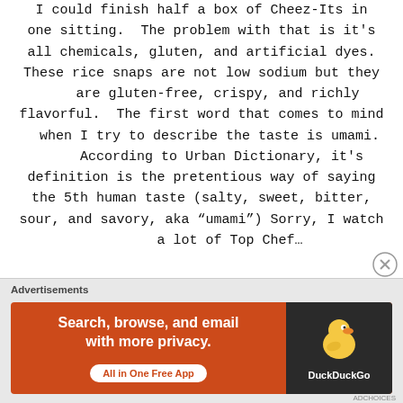I could finish half a box of Cheez-Its in one sitting.  The problem with that is it's all chemicals, gluten, and artificial dyes.  These rice snaps are not low sodium but they are gluten-free, crispy, and richly flavorful.  The first word that comes to mind when I try to describe the taste is umami.  According to Urban Dictionary, it's definition is the pretentious way of saying the 5th human taste (salty, sweet, bitter, sour, and savory, aka “umami”) Sorry, I watch a lot of Top Chef…
[Figure (screenshot): DuckDuckGo advertisement banner: 'Search, browse, and email with more privacy. All in One Free App' with DuckDuckGo logo on dark background]